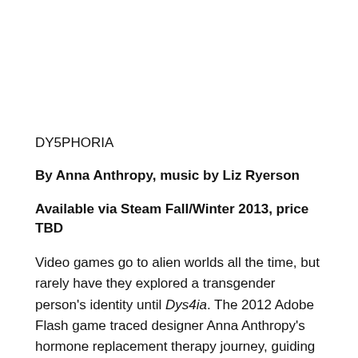DY5PHORIA
By Anna Anthropy, music by Liz Ryerson
Available via Steam Fall/Winter 2013, price TBD
Video games go to alien worlds all the time, but rarely have they explored a transgender person's identity until Dys4ia. The 2012 Adobe Flash game traced designer Anna Anthropy's hormone replacement therapy journey, guiding the player